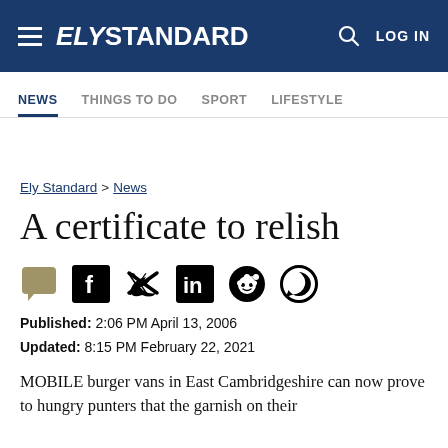ELY STANDARD — LOG IN
NEWS | THINGS TO DO | SPORT | LIFESTYLE
Ely Standard > News
A certificate to relish
[Figure (other): Social sharing icons: comment bubble, Facebook, Twitter, LinkedIn, Reddit, WhatsApp]
Published: 2:06 PM April 13, 2006
Updated: 8:15 PM February 22, 2021
MOBILE burger vans in East Cambridgeshire can now prove to hungry punters that the garnish on their